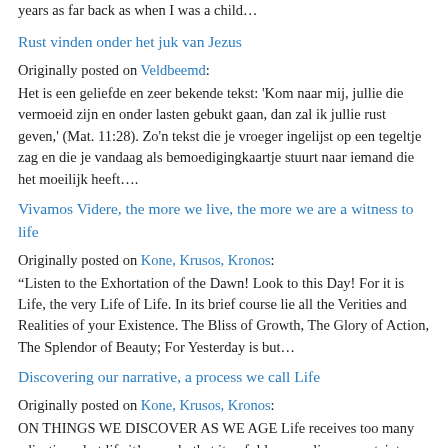years as far back as when I was a child…
Rust vinden onder het juk van Jezus
Originally posted on Veldbeemd:
Het is een geliefde en zeer bekende tekst: 'Kom naar mij, jullie die vermoeid zijn en onder lasten gebukt gaan, dan zal ik jullie rust geven,' (Mat. 11:28). Zo'n tekst die je vroeger ingelijst op een tegeltje zag en die je vandaag als bemoedigingkaartje stuurt naar iemand die het moeilijk heeft….
Vivamos Videre, the more we live, the more we are a witness to life
Originally posted on Kone, Krusos, Kronos:
“Listen to the Exhortation of the Dawn! Look to this Day! For it is Life, the very Life of Life. In its brief course lie all the Verities and Realities of your Existence. The Bliss of Growth, The Glory of Action, The Splendor of Beauty; For Yesterday is but…
Discovering our narrative, a process we call Life
Originally posted on Kone, Krusos, Kronos:
ON THINGS WE DISCOVER AS WE AGE Life receives too many adjectives, but life it’s a verb, that it unfolds as we live, uncertainty a first, in childhood, and at our youth undecided, and shy, as we mature